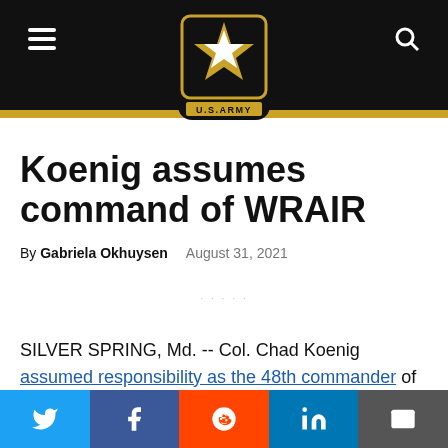U.S. Army website header with hamburger menu, Army star logo, and search icon
Koenig assumes command of WRAIR
By Gabriela Okhuysen   August 31, 2021
[Figure (photo): Placeholder image area]
SILVER SPRING, Md. -- Col. Chad Koenig assumed responsibility as the 48th commander of the Walter
Social share buttons: Twitter, Facebook, Reddit, LinkedIn, Email